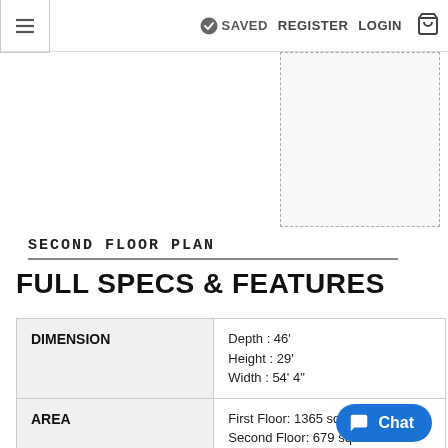≡  SAVED  REGISTER  LOGIN  🛒
[Figure (schematic): Second floor plan diagram placeholder box]
SECOND FLOOR PLAN
FULL SPECS & FEATURES
|  |  |
| --- | --- |
| DIMENSION | Depth : 46'
Height : 29'
Width : 54' 4" |
| AREA | First Floor: 1365 sq/ft
Second Floor: 679 sq/ft
* Total Square Footage typically only includes conditioned space and de garages, rooms, or |